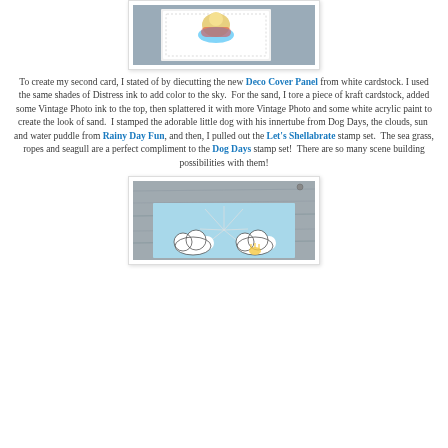[Figure (photo): Top photo showing a handmade card with a die-cut character on a wooden background]
To create my second card, I stated of by diecutting the new Deco Cover Panel from white cardstock. I used the same shades of Distress ink to add color to the sky.  For the sand, I tore a piece of kraft cardstock, added some Vintage Photo ink to the top, then splattered it with more Vintage Photo and some white acrylic paint to create the look of sand.  I stamped the adorable little dog with his innertube from Dog Days, the clouds, sun  and water puddle from Rainy Day Fun, and then, I pulled out the Let's Shellabrate stamp set.  The sea grass, ropes and seagull are a perfect compliment to the Dog Days stamp set!  There are so many scene building possibilities with them!
[Figure (photo): Bottom photo showing a handmade card with cloud stamps on a blue background, placed on a wooden surface]